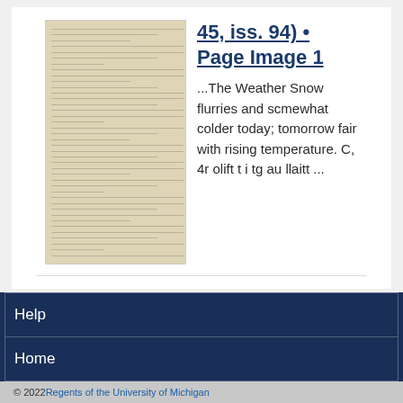[Figure (photo): Thumbnail image of a historical newspaper page, yellowish-brown aged paper with columns of small text.]
45, iss. 94) • Page Image 1
...The Weather Snow flurries and scmewhat colder today; tomorrow fair with rising temperature. C, 4r olift t i tg au llaitt ...
Help
Home
© 2022 Regents of the University of Michigan